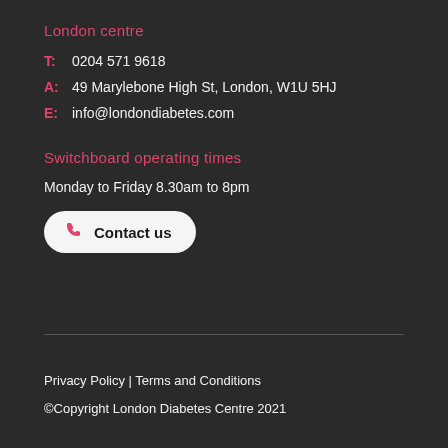London centre
T: 0204 571 9618
A: 49 Marylebone High St, London, W1U 5HJ
E: info@londondiabetes.com
Switchboard operating times
Monday to Friday 8.30am to 8pm
Contact us
Privacy Policy | Terms and Conditions
©Copyright London Diabetes Centre 2021